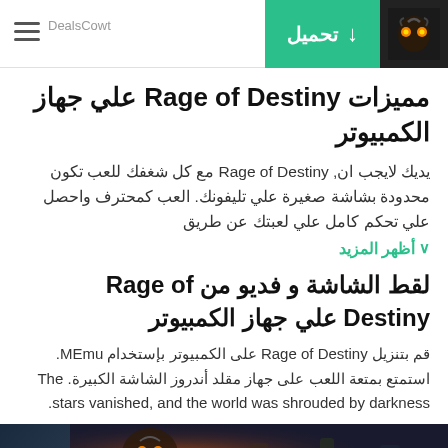تحميل | DealsCowt
مميزات Rage of Destiny علي جهاز الكمبيوتر
يديك لايجب ان, Rage of Destiny مع كل شغفك للعب تكون محدودة بشاشة صغيرة علي تليفونك. العب كمحترف واحصل علي تحكم كامل علي لعبتك عن طريق
أظهر المزيد ∨
لقط الشاشة و فديو من Rage of Destiny علي جهاز الكمبيوتر
قم بتنزيل Rage of Destiny على الكمبيوتر بإستخدام MEmu. استمتع بمتعة اللعب على جهاز مقلد أندروز الشاشة الكبيرة. The stars vanished, and the world was shrouded by darkness.
[Figure (screenshot): Game screenshot showing dark fantasy scene]